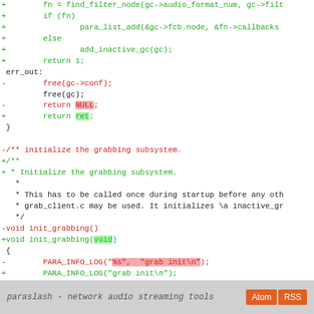[Figure (screenshot): Code diff showing changes to audio grabbing subsystem in C. Green lines are additions (+), red lines are deletions (-). Changes include find_filter_node call, err_out label refactoring, init_grabbing function signature change from no args to void, and PARA_INFO_LOG argument changes.]
paraslash - network audio streaming tools  Atom  RSS